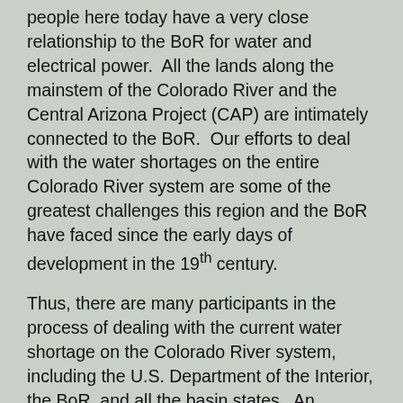people here today have a very close relationship to the BoR for water and electrical power.  All the lands along the mainstem of the Colorado River and the Central Arizona Project (CAP) are intimately connected to the BoR.  Our efforts to deal with the water shortages on the entire Colorado River system are some of the greatest challenges this region and the BoR have faced since the early days of development in the 19th century.
Thus, there are many participants in the process of dealing with the current water shortage on the Colorado River system, including the U.S. Department of the Interior, the BoR, and all the basin states.  An accentuating feature of the current water shortage on the Colorado River is due to the fact that for the past 22 years, the average annual flow in the Colorado River has been ~ 12.4 million acre-feet (maf) while the Colorado River water is budgeted for a total of 16.5 maf of allocations between U.S. states and Mexico.